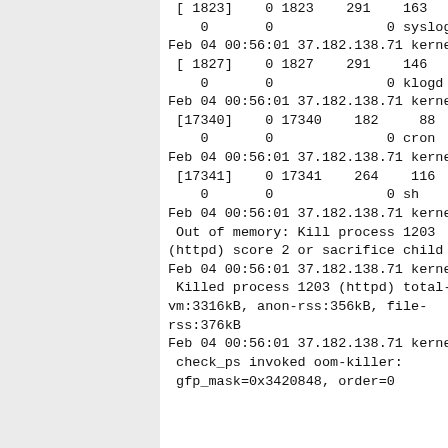[ 1823]    0 1823    291    163    3    0       0              0 syslogd
Feb 04 00:56:01 37.182.138.71 kernel:
 [ 1827]    0 1827    291    146    4    0       0              0 klogd
Feb 04 00:56:01 37.182.138.71 kernel:
 [17340]    0 17340    182     88    3    0       0              0 cron
Feb 04 00:56:01 37.182.138.71 kernel:
 [17341]    0 17341    264    116    4    0       0              0 sh
Feb 04 00:56:01 37.182.138.71 kernel:
 Out of memory: Kill process 1203 (httpd) score 2 or sacrifice child
Feb 04 00:56:01 37.182.138.71 kernel:
 Killed process 1203 (httpd) total-vm:3316kB, anon-rss:356kB, file-rss:376kB
Feb 04 00:56:01 37.182.138.71 kernel:
 check_ps invoked oom-killer:
 gfp_mask=0x3420848, order=0